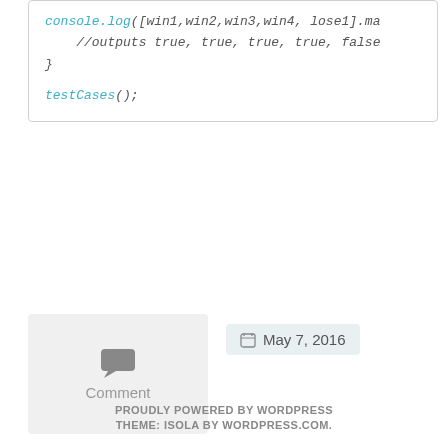console.log([win1,win2,win3,win4, lose1].ma
    //outputs true, true, true, true, false
}
testCases();
[Figure (other): Comment icon button with speech bubble graphic and label 'Comment']
May 7, 2016
← Older posts
PROUDLY POWERED BY WORDPRESS
THEME: ISOLA BY WORDPRESS.COM.